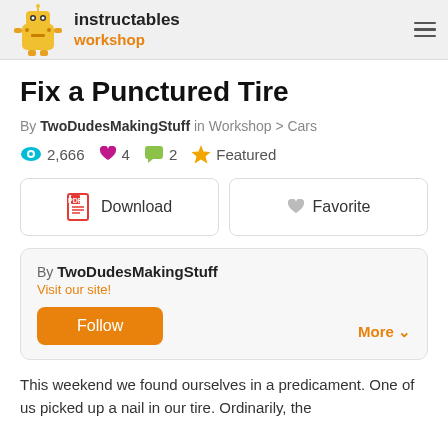instructables workshop
Fix a Punctured Tire
By TwoDudesMakingStuff in Workshop > Cars
2,666 views  4 favorites  2 comments  Featured
[Figure (other): Download button (PDF icon) and Favorite button (heart icon)]
By TwoDudesMakingStuff
Visit our site!
Follow
More
This weekend we found ourselves in a predicament. One of us picked up a nail in our tire. Ordinarily, the